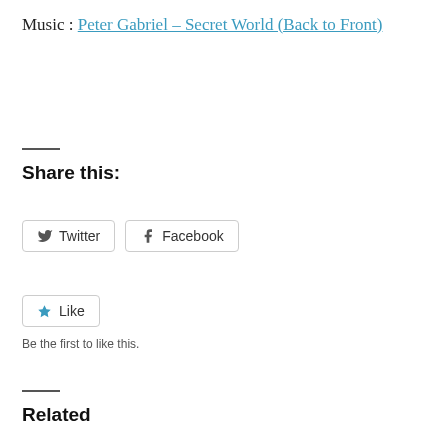Music : Peter Gabriel – Secret World (Back to Front)
Share this:
Twitter  Facebook
Like  Be the first to like this.
Related